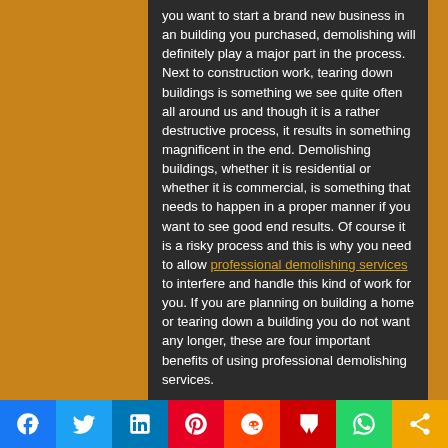you want to start a brand new business in an building you purchased, demolishing will definitely play a major part in the process. Next to construction work, tearing down buildings is something we see quite often all around us and though it is a rather destructive process, it results in something magnificent in the end. Demolishing buildings, whether it is residential or whether it is commercial, is something that needs to happen in a proper manner if you want to see good end results. Of course it is a risky process and this is why you need to allow professional demolishing services to interfere and handle this kind of work for you. If you are planning on building a home or tearing down a building you do not want any longer, these are four important benefits of using professional demolishing services.
More compliant with laws and regulations...